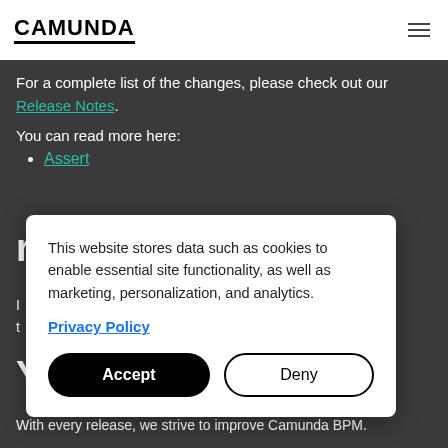CAMUNDA
For a complete list of the changes, please check out our Release Notes.
You can read more here:
Assert
This website stores data such as cookies to enable essential site functionality, as well as marketing, personalization, and analytics.
Privacy Policy
Accept
Deny
...mar
...cure a spot at t... ...n German and E...
Y...s!
With every release, we strive to improve Camunda BPM.